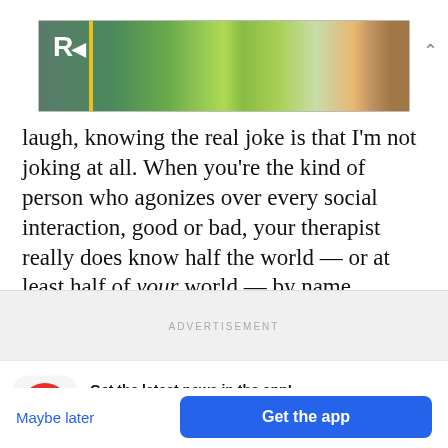[Figure (photo): Advertisement banner showing children playing in a pool with inflatable toys. Has a red letter 'R' logo on left and a yellow vertical bar. A chevron/up arrow is visible at the top right outside the banner.]
laugh, knowing the real joke is that I'm not joking at all. When you're the kind of person who agonizes over every social interaction, good or bad, your therapist really does know half the world — or at least half of your world — by name.
ADVERTISEMENT
Get the latest news in the app! Stay up to date on the most breaking news, all from your BuzzFeed app.
Maybe later
Get the app